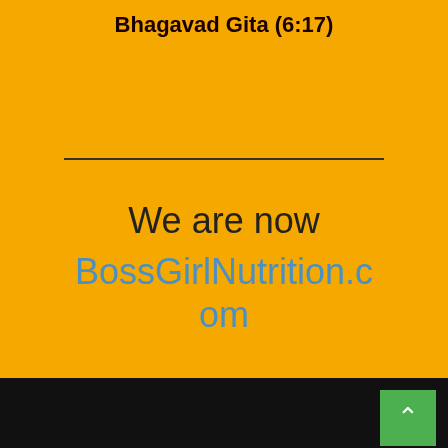Bhagavad Gita (6:17)
We are now BossGirlNutrition.com